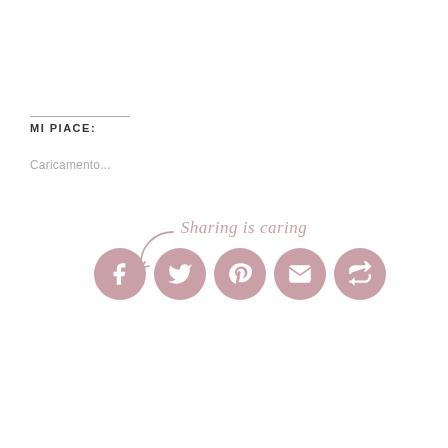MI PIACE:
Caricamento...
[Figure (infographic): Sharing is caring label with a curved arrow pointing to five social media icon circles (Facebook, Twitter, Pinterest, Email, Share/loop) in dusty rose/mauve color]